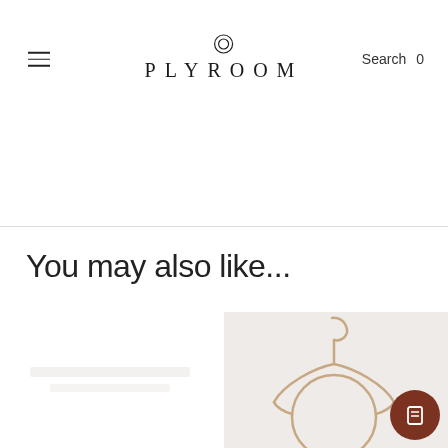PLYROOM — Search 0
You may also like...
[Figure (photo): Two product images side by side: left card mostly white with faint product placeholder, right card with light gray background showing a circular rose-gold wire hanger with hook at top and a large ring at bottom, with a brown circle icon button in bottom right corner.]